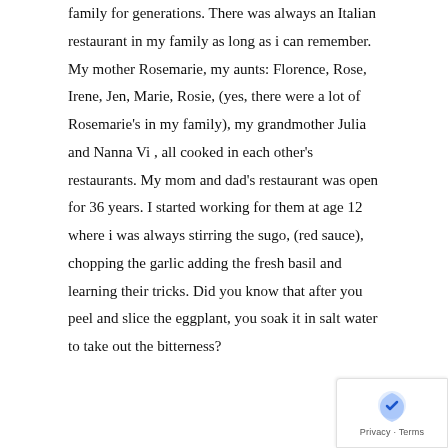family for generations. There was always an Italian restaurant in my family as long as i can remember. My mother Rosemarie, my aunts: Florence, Rose, Irene, Jen, Marie, Rosie, (yes, there were a lot of Rosemarie's in my family), my grandmother Julia and Nanna Vi , all cooked in each other's restaurants. My mom and dad's restaurant was open for 36 years. I started working for them at age 12 where i was always stirring the sugo, (red sauce), chopping the garlic adding the fresh basil and learning their tricks. Did you know that after you peel and slice the eggplant, you soak it in salt water to take out the bitterness?